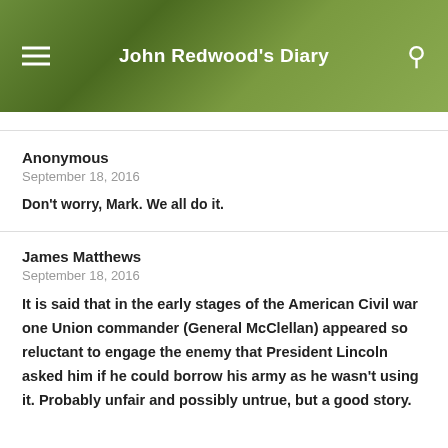John Redwood's Diary
Anonymous
September 18, 2016
Don't worry, Mark. We all do it.
James Matthews
September 18, 2016
It is said that in the early stages of the American Civil war one Union commander (General McClellan) appeared so reluctant to engage the enemy that President Lincoln asked him if he could borrow his army as he wasn't using it. Probably unfair and possibly untrue, but a good story.